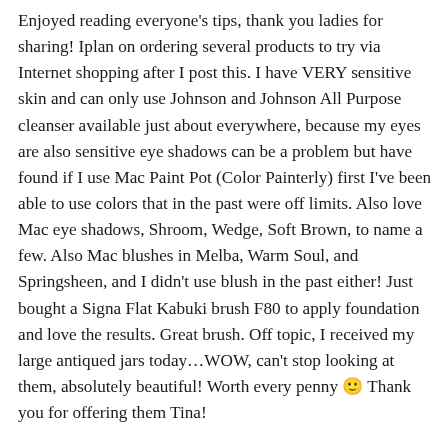Enjoyed reading everyone's tips, thank you ladies for sharing! Iplan on ordering several products to try via Internet shopping after I post this. I have VERY sensitive skin and can only use Johnson and Johnson All Purpose cleanser available just about everywhere, because my eyes are also sensitive eye shadows can be a problem but have found if I use Mac Paint Pot (Color Painterly) first I've been able to use colors that in the past were off limits. Also love Mac eye shadows, Shroom, Wedge, Soft Brown, to name a few. Also Mac blushes in Melba, Warm Soul, and Springsheen, and I didn't use blush in the past either! Just bought a Signa Flat Kabuki brush F80 to apply foundation and love the results. Great brush. Off topic, I received my large antiqued jars today...WOW, can't stop looking at them, absolutely beautiful! Worth every penny 🙂 Thank you for offering them Tina!